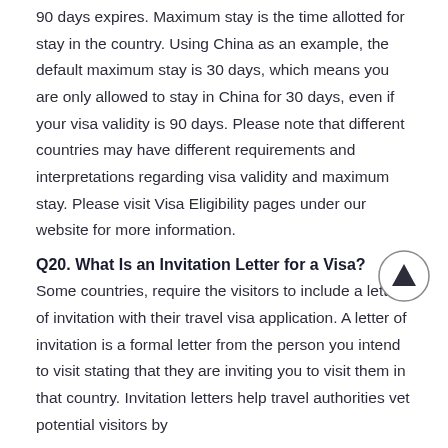90 days expires. Maximum stay is the time allotted for stay in the country. Using China as an example, the default maximum stay is 30 days, which means you are only allowed to stay in China for 30 days, even if your visa validity is 90 days. Please note that different countries may have different requirements and interpretations regarding visa validity and maximum stay. Please visit Visa Eligibility pages under our website for more information.
Q20. What Is an Invitation Letter for a Visa?
Some countries, require the visitors to include a letter of invitation with their travel visa application. A letter of invitation is a formal letter from the person you intend to visit stating that they are inviting you to visit them in that country. Invitation letters help travel authorities vet potential visitors by